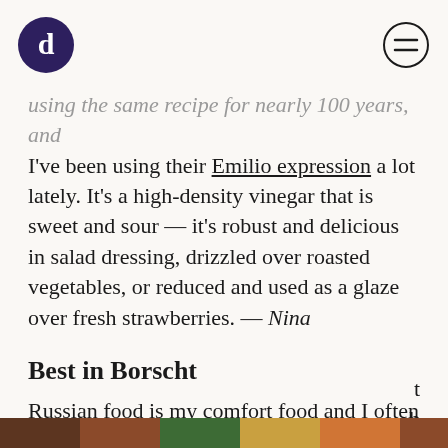[Logo] [Menu icon]
using the same recipe for nearly 100 years, and I've been using their Emilio expression a lot lately. It's a high-density vinegar that is sweet and sour — it's robust and delicious in salad dressing, drizzled over roasted vegetables, or reduced and used as a glaze over fresh strawberries. — Nina
Best in Borscht
Russian food is my comfort food and I often cook it myself, but it's gotten harder to find in the Bay Area. So I was particularly excited to hear about th